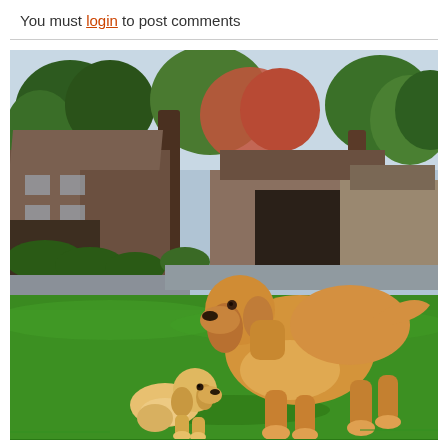You must login to post comments
[Figure (photo): Outdoor photo of a large adult golden retriever bending down to sniff or interact with a tiny golden retriever puppy on a green lawn in a suburban neighborhood, with trees and houses in the background.]